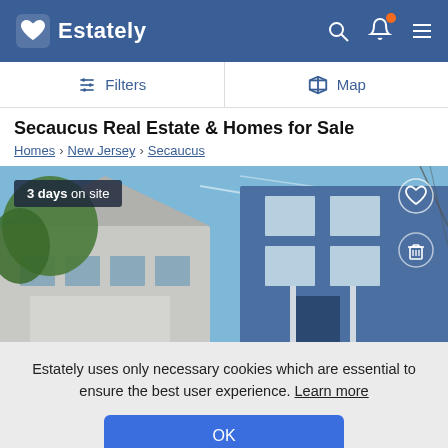Estately
Filters  Map
Secaucus Real Estate & Homes for Sale
Homes > New Jersey > Secaucus
[Figure (photo): Photo of a blue multi-story residential house with white trim, with a grey house partially visible to the left and trees in the background. Badge overlay reads '3 days on site'. Heart and trash icons visible top right.]
Estately uses only necessary cookies which are essential to ensure the best user experience. Learn more
OK